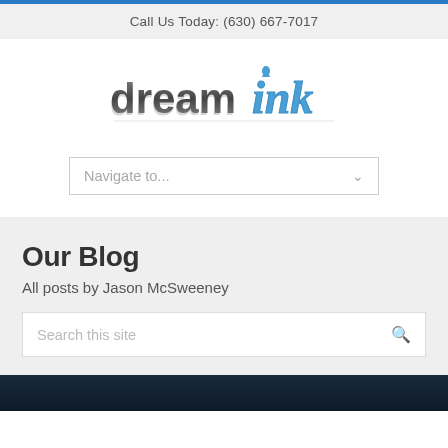Call Us Today: (630) 667-7017
[Figure (logo): Dream Ink logo with 'dream' in dark gray block lettering and 'ink' in blue stylized script with ink drop]
Navigate to...
Our Blog
All posts by Jason McSweeney
Search this site
[Figure (photo): Bottom partial image strip showing dark blue/teal background, appears to be start of a blog post image]